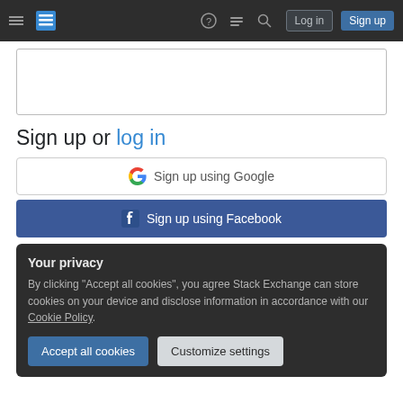Stack Exchange navigation bar with hamburger, logo, help, chat, search, Log in, Sign up
[Figure (screenshot): Empty white text area box with border]
Sign up or log in
Sign up using Google
Sign up using Facebook
Your privacy
By clicking "Accept all cookies", you agree Stack Exchange can store cookies on your device and disclose information in accordance with our Cookie Policy.
Accept all cookies   Customize settings